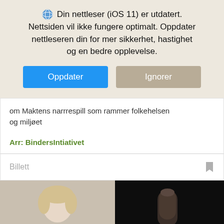Din nettleser (iOS 11) er utdatert. Nettsiden vil ikke fungere optimalt. Oppdater nettleseren din for mer sikkerhet, hastighet og en bedre opplevelse.
[Figure (screenshot): Two buttons: 'Oppdater' (blue) and 'Ignorer' (tan/beige)]
om Maktens narrrespill som rammer folkehelsen og miljøet
Arr: BindersIntiativet
Billett
[Figure (photo): Two side-by-side photos at bottom: left shows a person with light hair on beige background, right shows a dark photo with finger visible.]